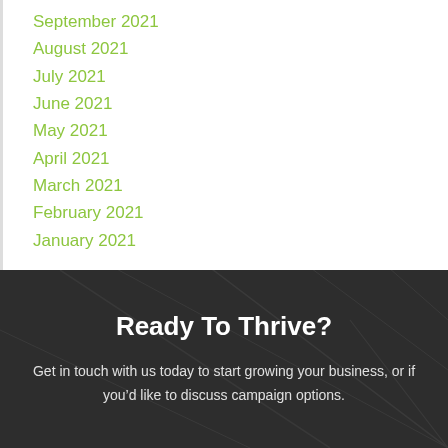September 2021
August 2021
July 2021
June 2021
May 2021
April 2021
March 2021
February 2021
January 2021
Ready To Thrive?
Get in touch with us today to start growing your business, or if you’d like to discuss campaign options.